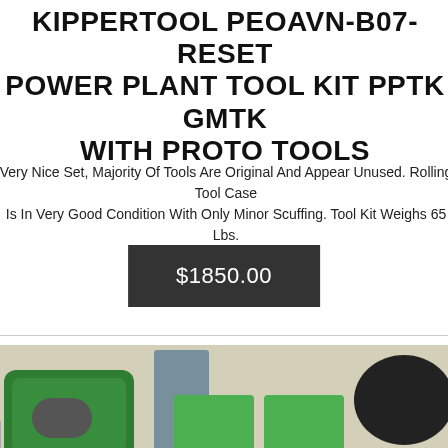KIPPERTOOL PEOAVN-B07-RESET POWER PLANT TOOL KIT PPTK GMTK WITH PROTO TOOLS
Very Nice Set, Majority Of Tools Are Original And Appear Unused. Rolling Tool Case Is In Very Good Condition With Only Minor Scuffing. Tool Kit Weighs 65 Lbs.
$1850.00
[Figure (photo): Photo showing a hearing aid kit with green carrying case, hearing aid device, batteries in green packaging, a small charger/case, and various accessories on a beige surface]